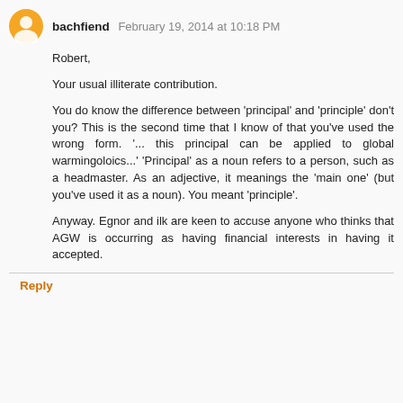bachfiend  February 19, 2014 at 10:18 PM
Robert,
Your usual illiterate contribution.
You do know the difference between 'principal' and 'principle' don't you? This is the second time that I know of that you've used the wrong form. '... this principal can be applied to global warmingoloics...' 'Principal' as a noun refers to a person, such as a headmaster. As an adjective, it meanings the 'main one' (but you've used it as a noun). You meant 'principle'.
Anyway. Egnor and ilk are keen to accuse anyone who thinks that AGW is occurring as having financial interests in having it accepted.
Reply